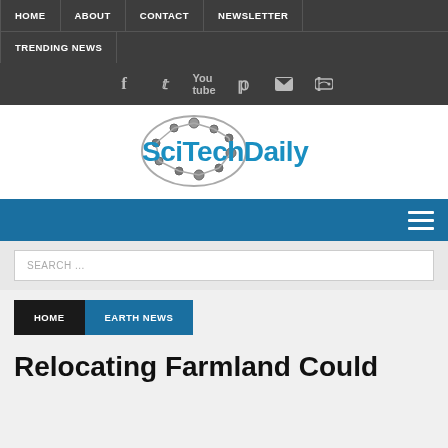HOME | ABOUT | CONTACT | NEWSLETTER | TRENDING NEWS
[Figure (logo): SciTechDaily logo with brain circuit graphic and blue text]
SEARCH ...
HOME  EARTH NEWS
Relocating Farmland Could